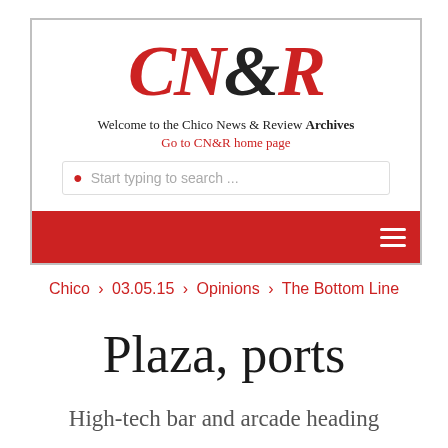[Figure (logo): CN&R logo with red CN and R, black ampersand, italic serif font]
Welcome to the Chico News & Review Archives
Go to CN&R home page
Start typing to search ...
Chico › 03.05.15 › Opinions › The Bottom Line
Plaza, ports
High-tech bar and arcade heading